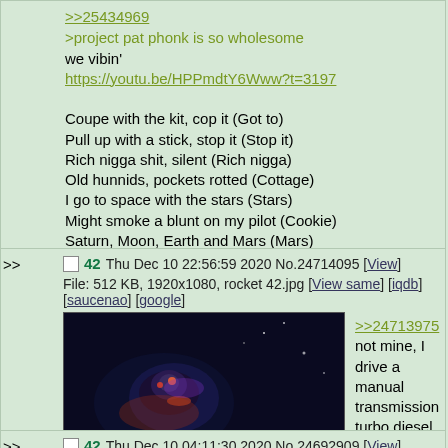>>25434969
>project pat phonk is so wholesome
we vibin'
https://youtu.be/HPPmdtY6Www?t=3197

Coupe with the kit, cop it (Got to)
Pull up with a stick, stop it (Stop it)
Rich nigga shit, silent (Rich nigga)
Old hunnids, pockets rotted (Cottage)
I go to space with the stars (Stars)
Might smoke a blunt on my pilot (Cookie)
Saturn, Moon, Earth and Mars (Mars)
NASA takeoff with the rocket (NASA)
>> 42 Thu Dec 10 22:56:59 2020 No.24714095 [View]
File: 512 KB, 1920x1080, rocket 42.jpg [View same] [iqdb] [saucenao] [google]
[Figure (photo): Dark sci-fi or space-themed image, appears to show a mechanical/robotic figure or spacecraft against a dark background with colorful light effects]
>>24713975
not mine, I drive a manual transmission turbo diesel car like a bossman
>> 42 Thu Dec 10 04:11:30 2020 No.24692909 [View]